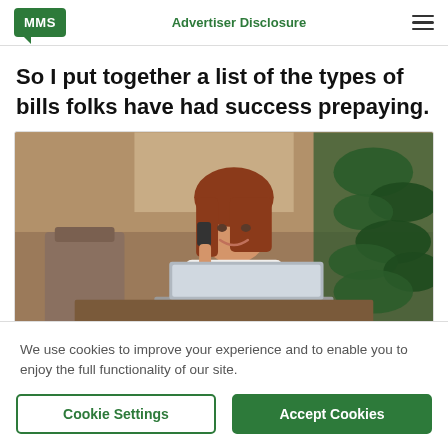MMS | Advertiser Disclosure
So I put together a list of the types of bills folks have had success prepaying.
[Figure (photo): Woman smiling while talking on phone and using laptop in a cafe setting with plants in background]
We use cookies to improve your experience and to enable you to enjoy the full functionality of our site.
Cookie Settings | Accept Cookies